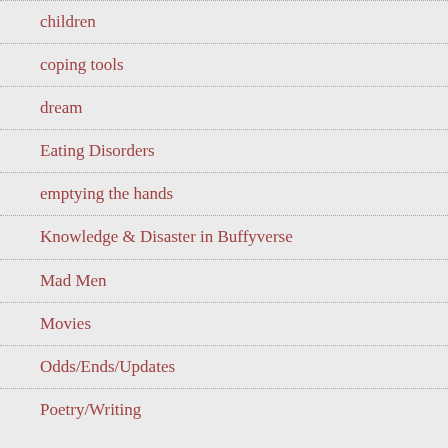children
coping tools
dream
Eating Disorders
emptying the hands
Knowledge & Disaster in Buffyverse
Mad Men
Movies
Odds/Ends/Updates
Poetry/Writing